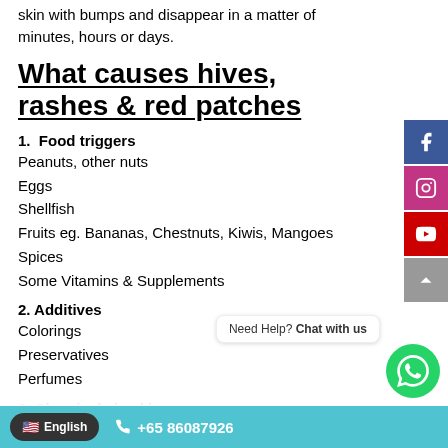Hives can suddenly appear as skin-colored, pink, or red itchy skin with bumps and disappear in a matter of minutes, hours or days.
What causes hives, rashes & red patches
1. Food triggers
Peanuts, other nuts
Eggs
Shellfish
Fruits eg. Bananas, Chestnuts, Kiwis, Mangoes
Spices
Some Vitamins & Supplements
2. Additives
Colorings
Preservatives
Perfumes
3. Chemicals in skincare and…
English  +65 86087926